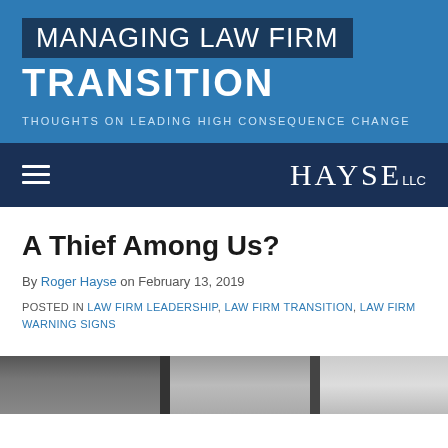MANAGING LAW FIRM TRANSITION
THOUGHTS ON LEADING HIGH CONSEQUENCE CHANGE
HAYSE LLC
A Thief Among Us?
By Roger Hayse on February 13, 2019
POSTED IN LAW FIRM LEADERSHIP, LAW FIRM TRANSITION, LAW FIRM WARNING SIGNS
[Figure (photo): Partial image strip at bottom of page, appears to show people in business attire]